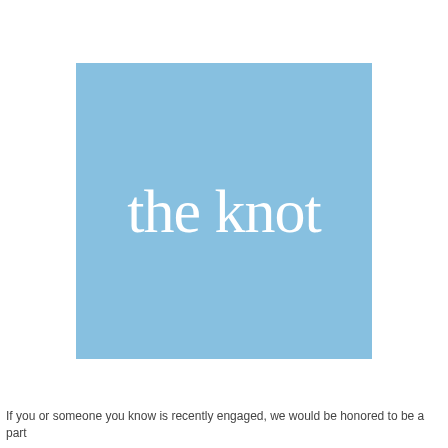[Figure (logo): The Knot logo — white cursive script 'the knot' on a light blue square background]
If you or someone you know is recently engaged, we would be honored to be a part